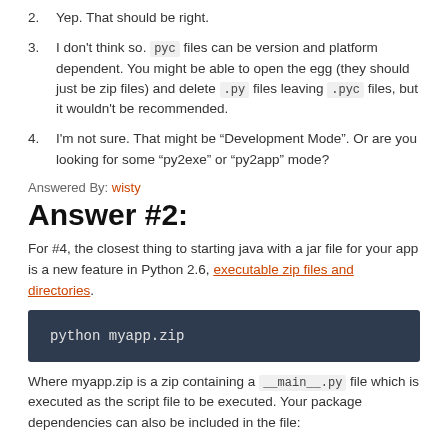2. Yep. That should be right.
3. I don't think so. pyc files can be version and platform dependent. You might be able to open the egg (they should just be zip files) and delete .py files leaving .pyc files, but it wouldn't be recommended.
4. I'm not sure. That might be “Development Mode”. Or are you looking for some “py2exe” or “py2app” mode?
Answered By: wisty
Answer #2:
For #4, the closest thing to starting java with a jar file for your app is a new feature in Python 2.6, executable zip files and directories.
[Figure (screenshot): Code block with dark background showing: python myapp.zip]
Where myapp.zip is a zip containing a __main__.py file which is executed as the script file to be executed. Your package dependencies can also be included in the file: